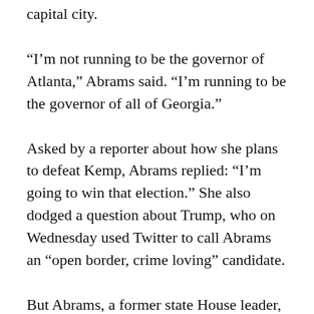capital city.
“I’m not running to be the governor of Atlanta,” Abrams said. “I’m running to be the governor of all of Georgia.”
Asked by a reporter about how she plans to defeat Kemp, Abrams replied: “I’m going to win that election.” She also dodged a question about Trump, who on Wednesday used Twitter to call Abrams an “open border, crime loving” candidate.
But Abrams, a former state House leader, was